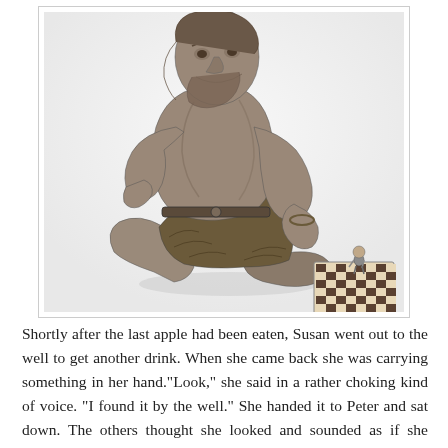[Figure (illustration): Black and white pencil drawing of a large giant or troll crouching down, examining a tiny human figure seated at a chessboard on the ground. The giant is muscular, shirtless, wearing fur around the waist and a chain bracelet. The giant is resting his chin on one hand and reaching toward the chessboard with the other. The tiny figure sits across the board from the giant's hand.]
Shortly after the last apple had been eaten, Susan went out to the well to get another drink. When she came back she was carrying something in her hand."Look," she said in a rather choking kind of voice. "I found it by the well." She handed it to Peter and sat down. The others thought she looked and sounded as if she might be going to cry. Edmund